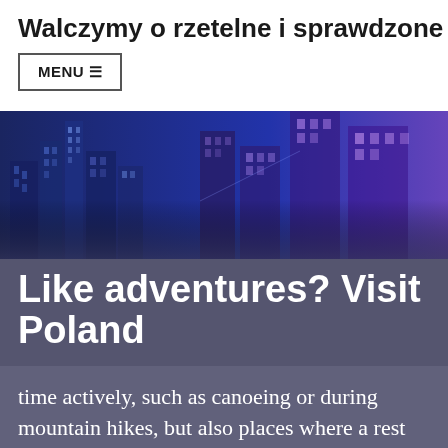Walczymy o rzetelne i sprawdzone newsy o
MENU ☰
[Figure (photo): Blue-toned cityscape photo showing tall glass buildings at night or dusk with a purple/blue overlay]
Like adventures? Visit Poland
time actively, such as canoeing or during mountain hikes, but also places where a rest from daily work, hustle and bustle of cities and noise. Depending on what we need and what we like to do, we should tak